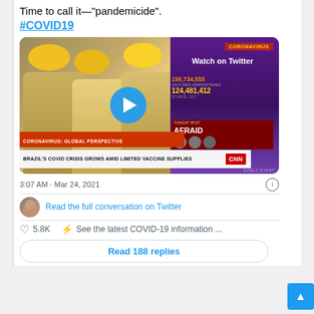Time to call it—"pandemicide". #COVID19
[Figure (screenshot): CNN news screenshot showing medical workers in PPE, with ticker: CORONAVIRUS: GLOBAL PERSPECTIVE / BRAZIL'S COVID CRISIS GROWS AMID LIMITED VACCINE SUPPLIES. Stats show 156,734,555 and 124,481,412 vaccines administered. Watch on Twitter overlay with play button.]
3:07 AM · Mar 24, 2021
Read the full conversation on Twitter
5.8K   See the latest COVID-19 information ...
Read 188 replies